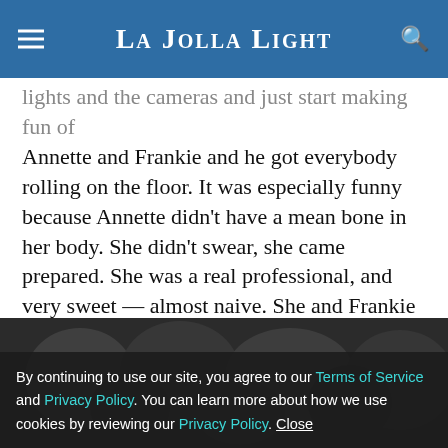La Jolla Light
lights and the cameras and just start making fun of Annette and Frankie and he got everybody rolling on the floor. It was especially funny because Annette didn’t have a mean bone in her body. She didn’t swear, she came prepared. She was a real professional, and very sweet — almost naive. She and Frankie were so much alike — both Italian, both dark hair, both white as ever, and when we were on the set, we would just laugh at them because Frankie and his cohorts wore bun-huggers, these tight little bathing suits. And the real surfers were like, ‘What? What is that?’ ”
[Figure (photo): Black and white photo of a crowd of people, partially obscured by the cookie consent bar.]
By continuing to use our site, you agree to our Terms of Service and Privacy Policy. You can learn more about how we use cookies by reviewing our Privacy Policy. Close